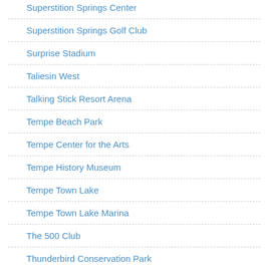Superstition Springs Center
Superstition Springs Golf Club
Surprise Stadium
Taliesin West
Talking Stick Resort Arena
Tempe Beach Park
Tempe Center for the Arts
Tempe History Museum
Tempe Town Lake
Tempe Town Lake Marina
The 500 Club
Thunderbird Conservation Park
Tournament Players Club (TPC) of Scottsdale